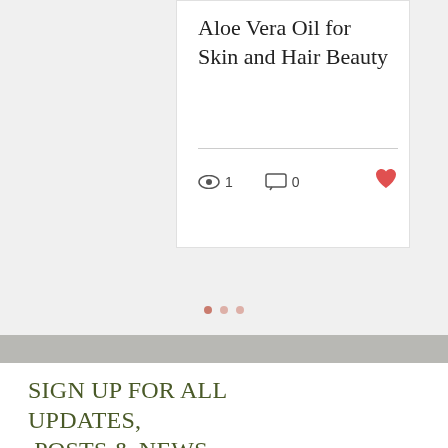Aloe Vera Oil for Skin and Hair Beauty
👁 1  💬 0  ♥
• • •
SIGN UP FOR ALL UPDATES,  POSTS & NEWS
Email Address
[Figure (other): Scroll to top button with upward arrow and underline]
SIGN UP
[Figure (other): Social media icons row: Instagram, Facebook, Twitter, YouTube]